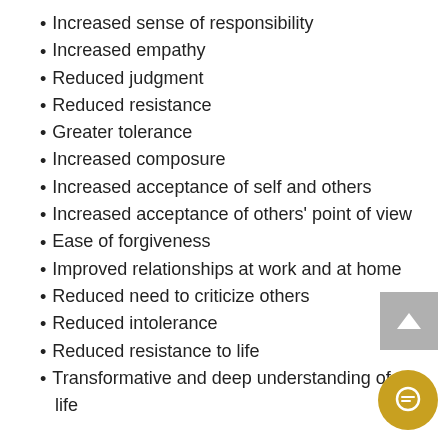Increased sense of responsibility
Increased empathy
Reduced judgment
Reduced resistance
Greater tolerance
Increased composure
Increased acceptance of self and others
Increased acceptance of others' point of view
Ease of forgiveness
Improved relationships at work and at home
Reduced need to criticize others
Reduced intolerance
Reduced resistance to life
Transformative and deep understanding of life